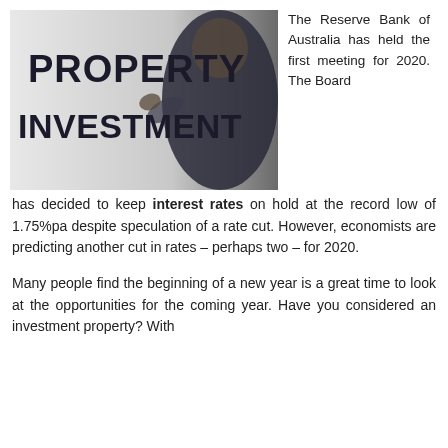[Figure (photo): Photo of a businessman pointing at text that reads PROPERTY INVESTMENT in bold dark letters on a light background]
The Reserve Bank of Australia has held the first meeting for 2020. The Board has decided to keep interest rates on hold at the record low of 1.75%pa despite speculation of a rate cut. However, economists are predicting another cut in rates – perhaps two – for 2020.
Many people find the beginning of a new year is a great time to look at the opportunities for the coming year. Have you considered an investment property? With